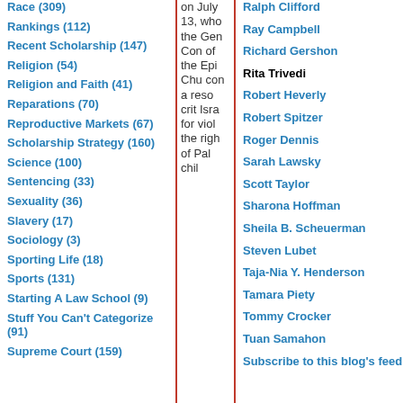Race (309)
Rankings (112)
Recent Scholarship (147)
Religion (54)
Religion and Faith (41)
Reparations (70)
Reproductive Markets (67)
Scholarship Strategy (160)
Science (100)
Sentencing (33)
Sexuality (36)
Slavery (17)
Sociology (3)
Sporting Life (18)
Sports (131)
Starting A Law School (9)
Stuff You Can't Categorize (91)
Supreme Court (159)
on July 13, who the General Con of the Episcopal Church con a resolution criticizing Israel for violating the rights of Palestinian children
Ralph Clifford
Ray Campbell
Richard Gershon
Rita Trivedi
Robert Heverly
Robert Spitzer
Roger Dennis
Sarah Lawsky
Scott Taylor
Sharona Hoffman
Sheila B. Scheuerman
Steven Lubet
Taja-Nia Y. Henderson
Tamara Piety
Tommy Crocker
Tuan Samahon
Subscribe to this blog's feed